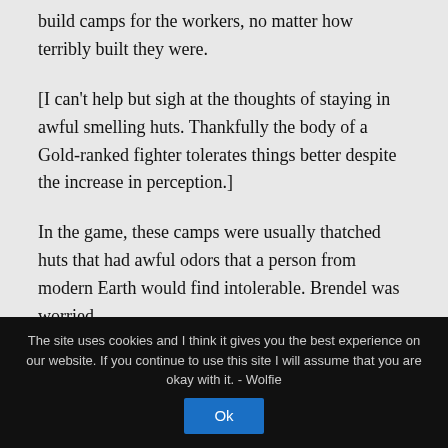build camps for the workers, no matter how terribly built they were.
[I can't help but sigh at the thoughts of staying in awful smelling huts. Thankfully the body of a Gold-ranked fighter tolerates things better despite the increase in perception.]
In the game, these camps were usually thatched huts that had awful odors that a person from modern Earth would find intolerable. Brendel was worried
The site uses cookies and I think it gives you the best experience on our website. If you continue to use this site I will assume that you are okay with it. - Wolfie Ok